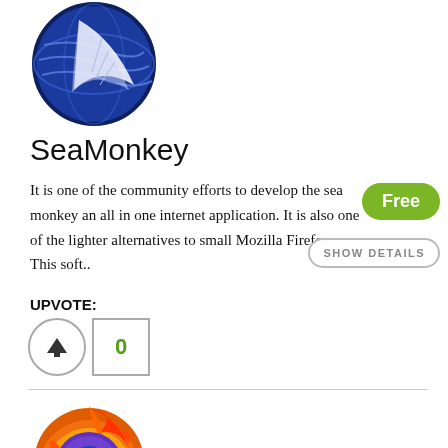[Figure (logo): SeaMonkey browser logo — circular blue globe with white feather/wing design]
SeaMonkey
It is one of the community efforts to develop the sea monkey an all in one internet application. It is also one of the lighter alternatives to small Mozilla Firefox. This soft..
Free
SHOW DETAILS
UPVOTE:
0
[Figure (logo): Mozilla Firefox browser logo — orange and red flame surrounding purple fox, circular blue globe center]
Mozilla Firefox
Mozilla Firefox is also known as Firefox. It is a free and
Free